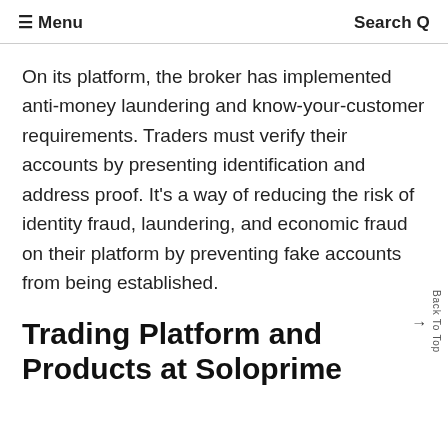≡ Menu   Search Q
On its platform, the broker has implemented anti-money laundering and know-your-customer requirements. Traders must verify their accounts by presenting identification and address proof. It's a way of reducing the risk of identity fraud, laundering, and economic fraud on their platform by preventing fake accounts from being established.
Trading Platform and Products at Soloprime